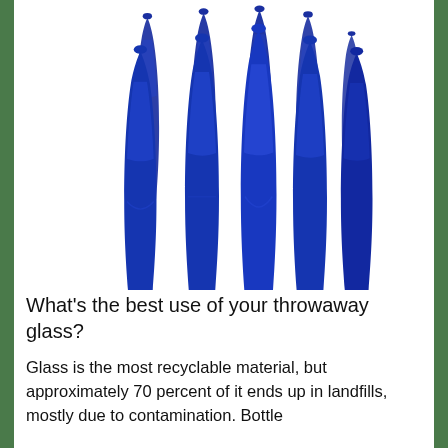[Figure (photo): A group of approximately 10 cobalt blue glass wine bottles arranged in a cluster, photographed against a white background. The bottles are tall and slender with narrow necks.]
What's the best use of your throwaway glass?
Glass is the most recyclable material, but approximately 70 percent of it ends up in landfills, mostly due to contamination. Bottle